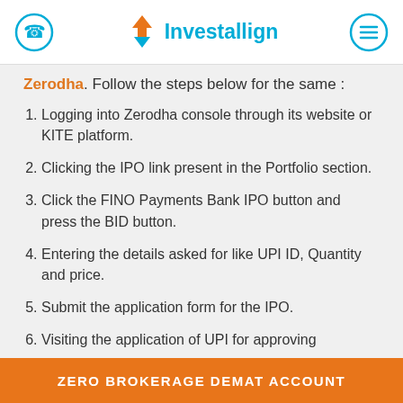Investallign
Zerodha. Follow the steps below for the same :
Logging into Zerodha console through its website or KITE platform.
Clicking the IPO link present in the Portfolio section.
Click the FINO Payments Bank IPO button and press the BID button.
Entering the details asked for like UPI ID, Quantity and price.
Submit the application form for the IPO.
Visiting the application of UPI for approving
ZERO BROKERAGE DEMAT ACCOUNT